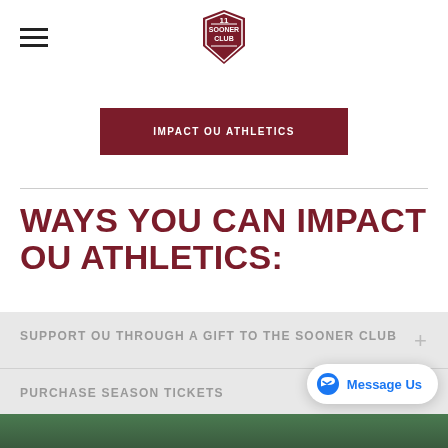Sooner Club logo and hamburger menu navigation
IMPACT OU ATHLETICS
WAYS YOU CAN IMPACT OU ATHLETICS:
SUPPORT OU THROUGH A GIFT TO THE SOONER CLUB
PURCHASE SEASON TICKETS
[Figure (screenshot): Message Us Facebook Messenger bubble in bottom right corner]
[Figure (photo): Bottom strip showing outdoor stadium or field area]